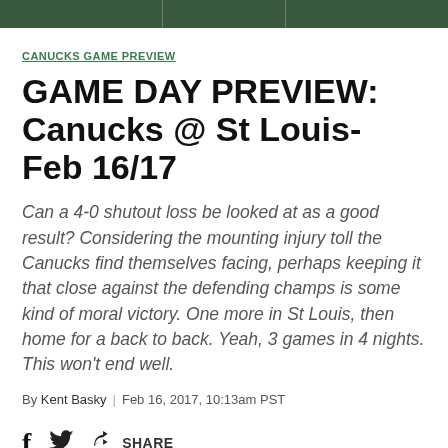CANUCKS GAME PREVIEW
GAME DAY PREVIEW: Canucks @ St Louis- Feb 16/17
Can a 4-0 shutout loss be looked at as a good result? Considering the mounting injury toll the Canucks find themselves facing, perhaps keeping it that close against the defending champs is some kind of moral victory. One more in St Louis, then home for a back to back. Yeah, 3 games in 4 nights. This won't end well.
By Kent Basky | Feb 16, 2017, 10:13am PST